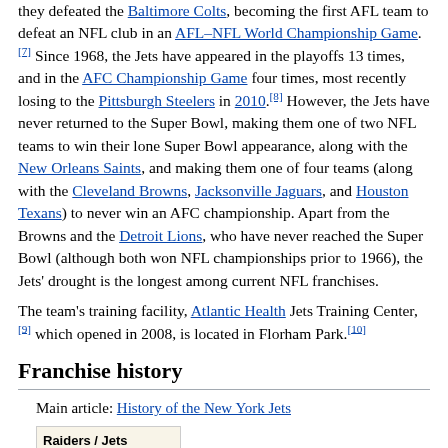they defeated the Baltimore Colts, becoming the first AFL team to defeat an NFL club in an AFL–NFL World Championship Game.[7] Since 1968, the Jets have appeared in the playoffs 13 times, and in the AFC Championship Game four times, most recently losing to the Pittsburgh Steelers in 2010.[8] However, the Jets have never returned to the Super Bowl, making them one of two NFL teams to win their lone Super Bowl appearance, along with the New Orleans Saints, and making them one of four teams (along with the Cleveland Browns, Jacksonville Jaguars, and Houston Texans) to never win an AFC championship. Apart from the Browns and the Detroit Lions, who have never reached the Super Bowl (although both won NFL championships prior to 1966), the Jets' drought is the longest among current NFL franchises.
The team's training facility, Atlantic Health Jets Training Center,[9] which opened in 2008, is located in Florham Park.[10]
Franchise history
Main article: History of the New York Jets
[Figure (photo): Raiders / Jets game program cover showing green and black background]